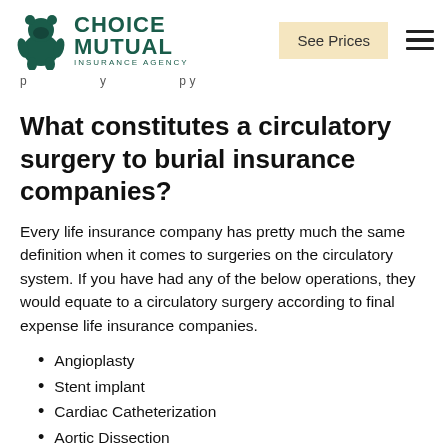Choice Mutual Insurance Agency | See Prices
What constitutes a circulatory surgery to burial insurance companies?
Every life insurance company has pretty much the same definition when it comes to surgeries on the circulatory system. If you have had any of the below operations, they would equate to a circulatory surgery according to final expense life insurance companies.
Angioplasty
Stent implant
Cardiac Catheterization
Aortic Dissection
Aneurysm Surgery